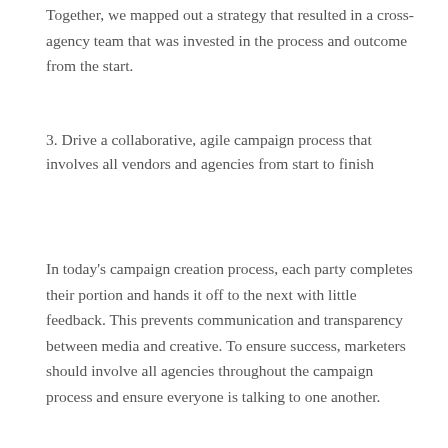Together, we mapped out a strategy that resulted in a cross-agency team that was invested in the process and outcome from the start.
3. Drive a collaborative, agile campaign process that involves all vendors and agencies from start to finish
In today's campaign creation process, each party completes their portion and hands it off to the next with little feedback. This prevents communication and transparency between media and creative. To ensure success, marketers should involve all agencies throughout the campaign process and ensure everyone is talking to one another.